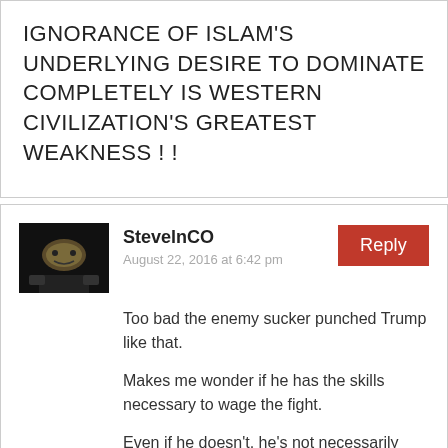IGNORANCE OF ISLAM'S UNDERLYING DESIRE TO DOMINATE COMPLETELY IS WESTERN CIVILIZATION'S GREATEST WEAKNESS ! !
StevelnCO
August 22, 2016 at 6:42 pm
Too bad the enemy sucker punched Trump like that.
Makes me wonder if he has the skills necessary to wage the fight.
Even if he doesn't, he's not necessarily worse than Hillary, since by all accounts Trump at least understands the problem and is willing to try. (Caution though, sometimes incompetence is worse than outright duplicity.) I'll take my chances and vote for him, given